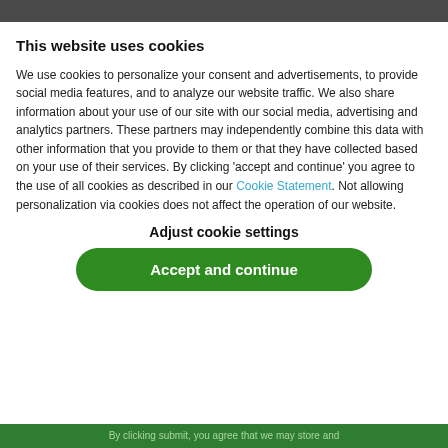This website uses cookies
We use cookies to personalize your consent and advertisements, to provide social media features, and to analyze our website traffic. We also share information about your use of our site with our social media, advertising and analytics partners. These partners may independently combine this data with other information that you provide to them or that they have collected based on your use of their services. By clicking 'accept and continue' you agree to the use of all cookies as described in our Cookie Statement. Not allowing personalization via cookies does not affect the operation of our website.
Adjust cookie settings
Accept and continue
By clicking submit, you agree that we may store and